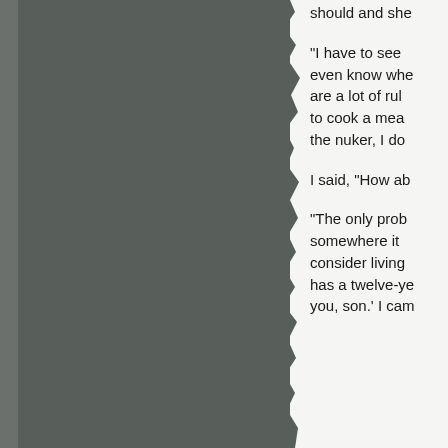[Figure (photo): A torn or ripped page edge showing a dark grey/charcoal background, occupying the left portion of the page. The right edge of the grey area has a jagged, torn-paper appearance.]
should and she
“I have to see even know whe are a lot of rul to cook a mea the nuker, I do
I said, “How ab
“The only prob somewhere it consider living has a twelve-ye you, son.’ I cam